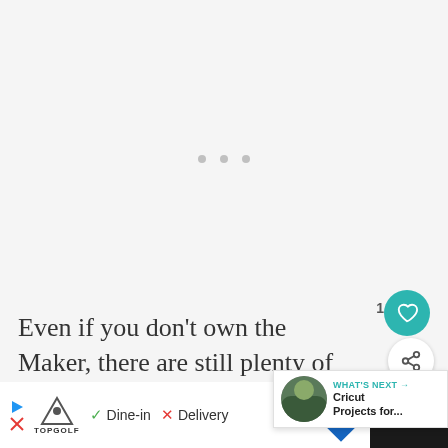[Figure (other): Light gray empty area with three small gray dots (loading indicator) in the upper portion of the page]
Even if you don't own the Maker, there are still plenty of project possibilities with the following three blades.  All of which designed to work with not only Maker, but
[Figure (screenshot): "What's Next" overlay widget showing a thumbnail image and text "Cricut Projects for..." with teal arrow indicator]
[Figure (screenshot): Advertisement bar at the bottom showing Topgolf logo with Dine-in checkmark and Delivery X options, blue diamond navigation icon, and dark section with temperature widget]